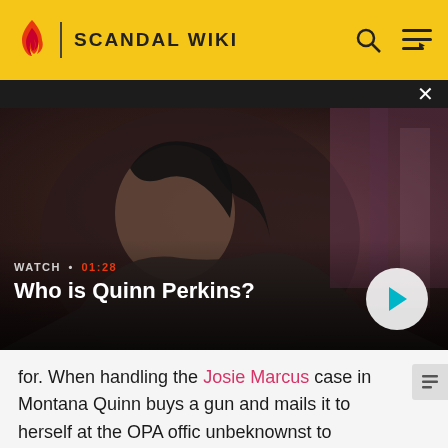SCANDAL WIKI
[Figure (screenshot): Video thumbnail showing a woman with dark hair in an action scene, with overlay text 'WATCH • 01:28 / Who is Quinn Perkins?' and a play button]
for. When handling the Josie Marcus case in Montana Quinn buys a gun and mails it to herself at the OPA offic unbeknownst to everyone else. When she began using it at the target range she ran into an old foe, Charlie. He helped her to hit the targets bullseye, thus beginning a